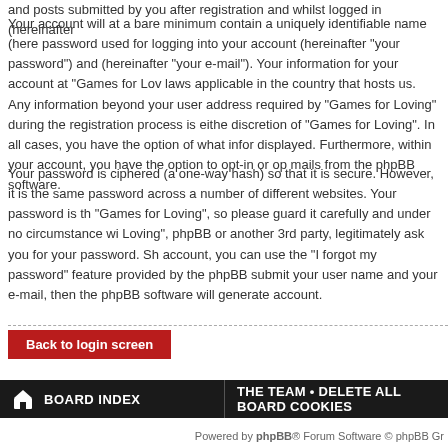and posts submitted by you after registration and whilst logged in (hereinafter
Your account will at a bare minimum contain a uniquely identifiable name (here password used for logging into your account (hereinafter “your password”) and (hereinafter “your e-mail”). Your information for your account at “Games for Lov laws applicable in the country that hosts us. Any information beyond your user address required by “Games for Loving” during the registration process is eithe discretion of “Games for Loving”. In all cases, you have the option of what infor displayed. Furthermore, within your account, you have the option to opt-in or op mails from the phpBB software.
Your password is ciphered (a one-way hash) so that it is secure. However, it is the same password across a number of different websites. Your password is th “Games for Loving”, so please guard it carefully and under no circumstance wi Loving”, phpBB or another 3rd party, legitimately ask you for your password. Sh account, you can use the “I forgot my password” feature provided by the phpBB submit your user name and your e-mail, then the phpBB software will generate account.
Back to login screen
BOARD INDEX   THE TEAM • DELETE ALL BOARD COOKIES
Powered by phpBB® Forum Software © phpBB Gr